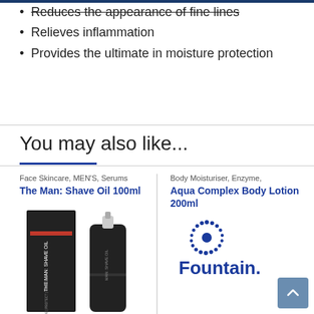Reduces the appearance of fine lines
Relieves inflammation
Provides the ultimate in moisture protection
You may also like...
Face Skincare, MEN'S, Serums
The Man: Shave Oil 100ml
[Figure (photo): Product photo of The Man: Shave Oil 100ml - dark bottle with pump dispenser next to product box]
Body Moisturiser, Enzyme,
Aqua Complex Body Lotion 200ml
[Figure (logo): Fountain brand logo with starburst/sunburst icon above text 'Fountain.']